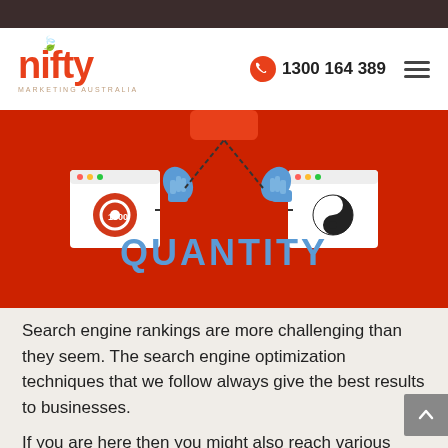[Figure (logo): Nifty Marketing Australia logo in orange/red with leaf accent, on white background]
1300 164 389
[Figure (illustration): Red banner showing 'QUANTITY' text in blue, with two thumbs-up icons and browser window icons on either side connected by dashed lines]
Search engine rankings are more challenging than they seem. The search engine optimization techniques that we follow always give the best results to businesses.
If you are here then you might also reach various conflicting documents on the internet about SEO services in Bunbury. SEO would have been easy if there was only one business of a kind in your place.